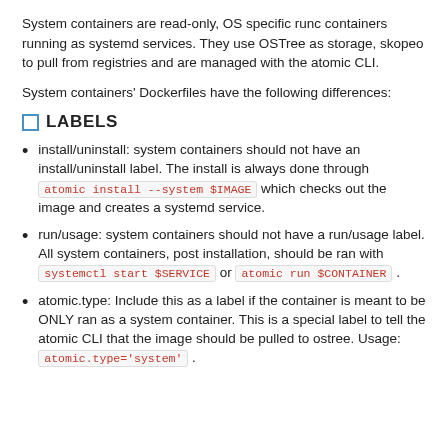System containers are read-only, OS specific runc containers running as systemd services. They use OSTree as storage, skopeo to pull from registries and are managed with the atomic CLI.
System containers' Dockerfiles have the following differences:
LABELS
install/uninstall: system containers should not have an install/uninstall label. The install is always done through atomic install --system $IMAGE which checks out the image and creates a systemd service.
run/usage: system containers should not have a run/usage label. All system containers, post installation, should be ran with systemctl start $SERVICE or atomic run $CONTAINER .
atomic.type: Include this as a label if the container is meant to be ONLY ran as a system container. This is a special label to tell the atomic CLI that the image should be pulled to ostree. Usage: atomic.type='system' .